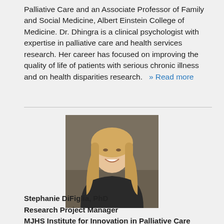Palliative Care and an Associate Professor of Family and Social Medicine, Albert Einstein College of Medicine. Dr. Dhingra is a clinical psychologist with expertise in palliative care and health services research. Her career has focused on improving the quality of life of patients with serious chronic illness and on health disparities research.   » Read more
[Figure (photo): Headshot photo of Stephanie DiFiglia, a young woman with long blonde hair, smiling, photographed outdoors.]
Stephanie DiFiglia, PhD
Research Project Manager
MJHS Institute for Innovation in Palliative Care